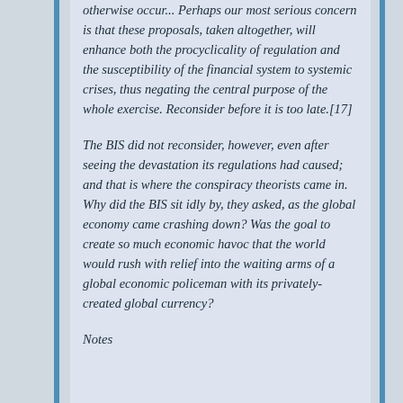otherwise occur... Perhaps our most serious concern is that these proposals, taken altogether, will enhance both the procyclicality of regulation and the susceptibility of the financial system to systemic crises, thus negating the central purpose of the whole exercise. Reconsider before it is too late.[17]
The BIS did not reconsider, however, even after seeing the devastation its regulations had caused; and that is where the conspiracy theorists came in. Why did the BIS sit idly by, they asked, as the global economy came crashing down? Was the goal to create so much economic havoc that the world would rush with relief into the waiting arms of a global economic policeman with its privately-created global currency?
Notes